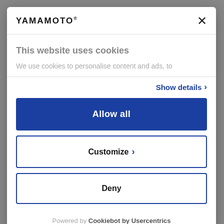YAMAMOTO
This website uses cookies
We use cookies to personalise content and ads, to
Show details >
Allow all
Customize >
Deny
Powered by Cookiebot by Usercentrics